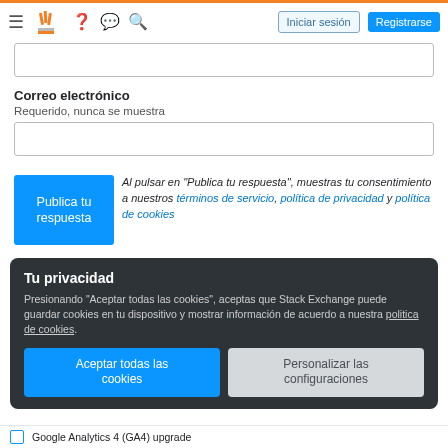Stack Exchange navigation bar with Iniciar sesión and Registrarse buttons
[Figure (screenshot): Input field (text box) for a form field]
Correo electrónico
Requerido, nunca se muestra
[Figure (screenshot): Input field (text box) for email]
Al pulsar en "Publica tu respuesta", muestras tu consentimiento a nuestros términos de servicio, política de privacidad y política de cookies
Tu privacidad
Presionando "Aceptar todas las cookies", aceptas que Stack Exchange puede guardar cookies en tu dispositivo y mostrar información de acuerdo a nuestra politica de cookies.
Aceptar todas las cookies | Personalizar las configuraciones
Google Analytics 4 (GA4) upgrade